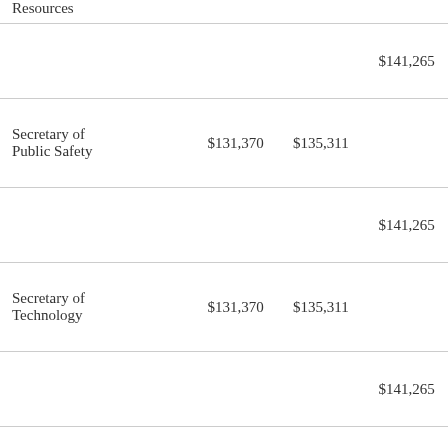|  |  |  |  |
| --- | --- | --- | --- |
| Resources |  |  |  |
|  |  |  | $141,265 |
| Secretary of Public Safety | $131,370 | $135,311 |  |
|  |  |  | $141,265 |
| Secretary of Technology | $131,370 | $135,311 |  |
|  |  |  | $141,265 |
| Secretary of Transportation | $131,370 | $135,311 |  |
|  |  |  | $141,265 |